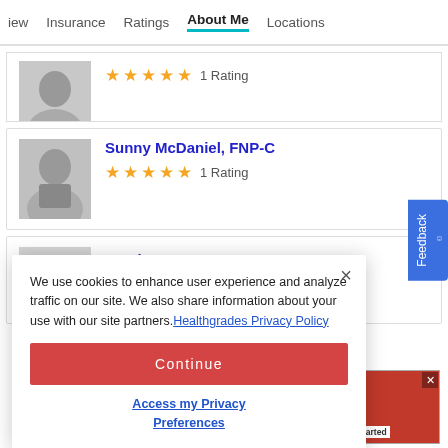iew   Insurance   Ratings   About Me   Locations
[Figure (photo): Provider headshot (grayscale), first card, partially visible]
★★★★☆ 1 Rating
[Figure (photo): Sunny McDaniel, FNP-C headshot in grayscale]
Sunny McDaniel, FNP-C
★★★★☆ 1 Rating
[Figure (photo): Heather Moya, APRN headshot in grayscale]
Heather Moya, APRN
We use cookies to enhance user experience and analyze traffic on our site. We also share information about your use with our site partners. Healthgrades Privacy Policy
Continue
Access my Privacy Preferences